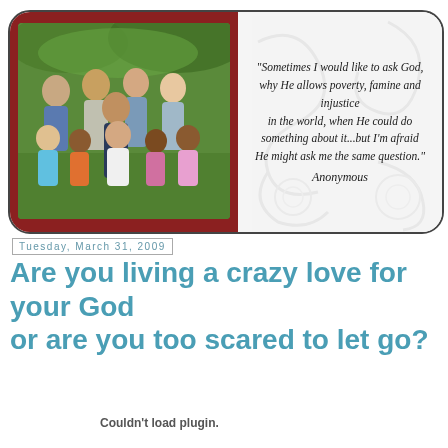[Figure (photo): Composite card with a family group photo on the left (bordered in dark red) and an inspirational quote on the right against a light swirly background.]
"Sometimes I would like to ask God, why He allows poverty, famine and injustice in the world, when He could do something about it...but I'm afraid He might ask me the same question." Anonymous
Tuesday, March 31, 2009
Are you living a crazy love for your God or are you too scared to let go?
Couldn't load plugin.